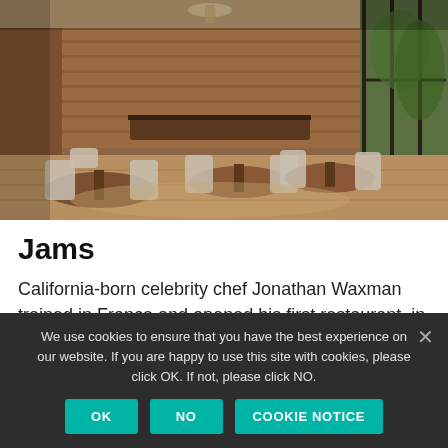[Figure (photo): Interior of Jams restaurant showing wooden dining tables and chairs, brick walls, large windows with greenery outside, and pendant lighting.]
Jams
California-born celebrity chef Jonathan Waxman trained in France and opened his first restaurant, in collaboration with restaurateur Michael McCarty in
We use cookies to ensure that you have the best experience on our website. If you are happy to use this site with cookies, please click OK. If not, please click NO.